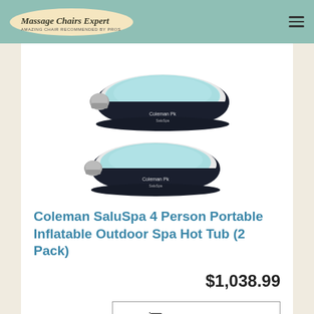Massage Chairs Expert
[Figure (photo): Two Coleman SaluSpa 4-person inflatable hot tubs stacked vertically, both dark navy blue with light blue bubbling water visible inside and gray filter/pump unit attached to the side]
Coleman SaluSpa 4 Person Portable Inflatable Outdoor Spa Hot Tub (2 Pack)
$1,038.99
Buy on Amazon